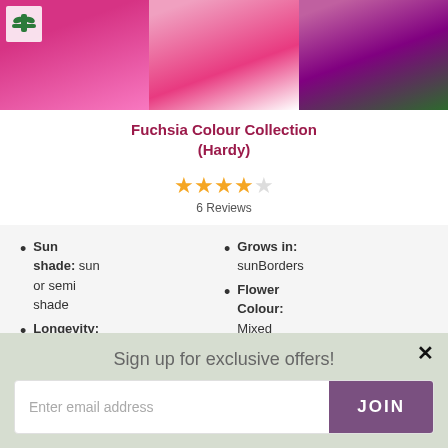[Figure (photo): Product photo of fuchsia flowers in pink, purple and red tones, with Thompson & Morgan logo overlay]
Fuchsia Colour Collection (Hardy)
[Figure (other): 4.5 out of 5 stars rating, 4 filled stars and 1 empty star]
6 Reviews
Sun shade: sun or semi shade
Grows in: sunBorders
Flower Colour: Mixed
Longevity: Shrub
Sign up for exclusive offers!
Enter email address
JOIN